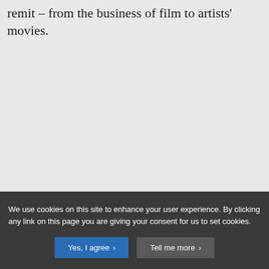remit – from the business of film to artists' movies.
We use cookies on this site to enhance your user experience. By clicking any link on this page you are giving your consent for us to set cookies.
Yes, I agree >
Tell me more >